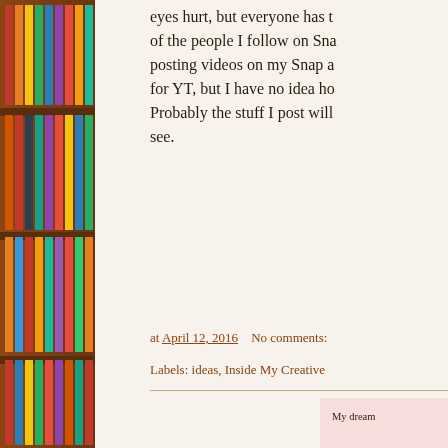[Figure (photo): Photograph of a wooden bookshelf filled with colorful books arranged on multiple shelves, on the left side of the page.]
eyes hurt, but everyone has t... of the people I follow on Sna... posting videos on my Snap a... for YT, but I have no idea ho... Probably the stuff I post will... see.
at April 12, 2016    No comments:
Labels: ideas, Inside My Creative...
[Figure (screenshot): A pink-background card with partial text lines: 'My dream...', 'At...', 'B...', 'Searching f...', 'Tha...', 'Each wal...', 'Wishing to st...']